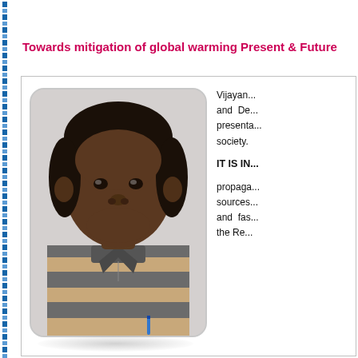Towards mitigation of global warming Present & Future
[Figure (photo): Portrait photo of a middle-aged man wearing a grey and beige striped polo shirt, against a light grey background]
Vijayan... and De... presenta... society. IT IS IN... propaga... sources... and fas... the Re...